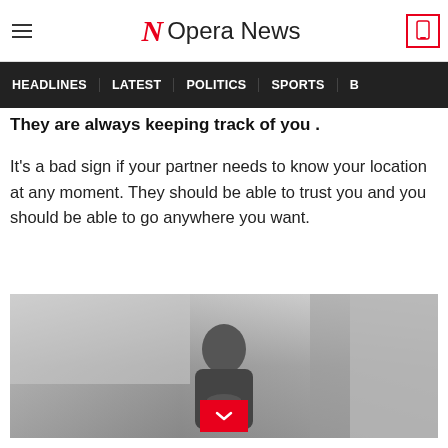Opera News
HEADLINES   LATEST   POLITICS   SPORTS
They are always keeping track of you .
It's a bad sign if your partner needs to know your location at any moment. They should be able to trust you and you should be able to go anywhere you want.
[Figure (photo): Black and white photo of a woman looking distressed, leaning against a wall with her hands folded under her chin]